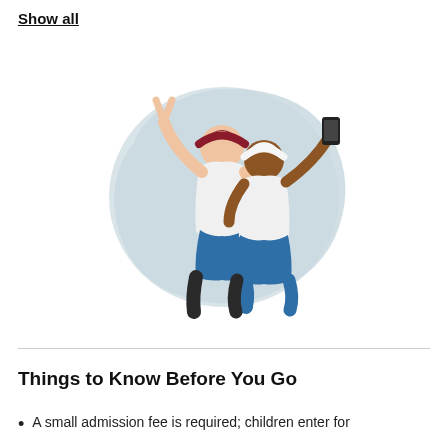Show all
[Figure (illustration): Two people taking a selfie together, illustrated in a flat style. One person in a white shirt raises a peace sign with one hand; the other holds a smartphone up. They are set against a soft light-blue organic blob background shape.]
Things to Know Before You Go
A small admission fee is required; children enter for